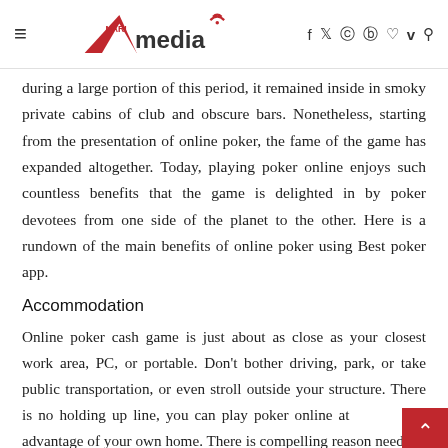≡ Nari Amedia [logo] f y ☉ ℗ ♡ v 🔍
during a large portion of this period, it remained inside in smoky private cabins of club and obscure bars. Nonetheless, starting from the presentation of online poker, the fame of the game has expanded altogether. Today, playing poker online enjoys such countless benefits that the game is delighted in by poker devotees from one side of the planet to the other. Here is a rundown of the main benefits of online poker using Best poker app.
Accommodation
Online poker cash game is just about as close as your closest work area, PC, or portable. Don't bother driving, park, or take public transportation, or even stroll outside your structure. There is no holding up line, you can play poker online at advantage of your own home. There is compelling reason need